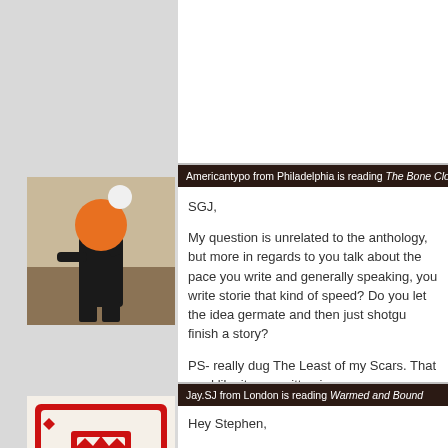(partial top comment content cut off)
Americantypo from Philadelphia is reading The Bone Clocks
SGJ,

My question is unrelated to the anthology, but more in regards to you talk about the pace you write and generally speaking, you write stories that kind of speed? Do you let the idea germate and then just shotgu finish a story?

PS- really dug The Least of my Scars. That read like it was written in

-Bill
Jay.SJ from London is reading Warmed and Bound
Hey Stephen,

I'd like to say that I DUG this collection so much. Richard sent it to m